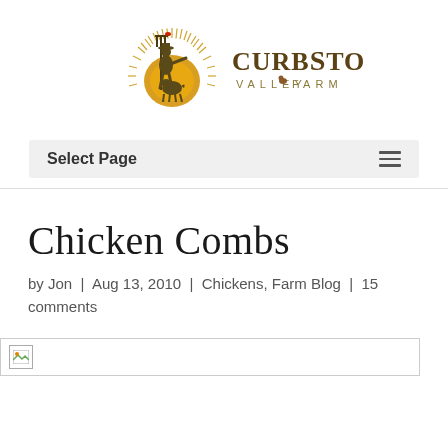[Figure (logo): Curbstone Valley Farm logo: silhouette of farmer with pitchfork and dog against a golden sunburst, with text 'CURBSTONE VALLEY FARM']
Select Page
Chicken Combs
by Jon | Aug 13, 2010 | Chickens, Farm Blog | 15 comments
[Figure (photo): Broken/missing image placeholder icon]